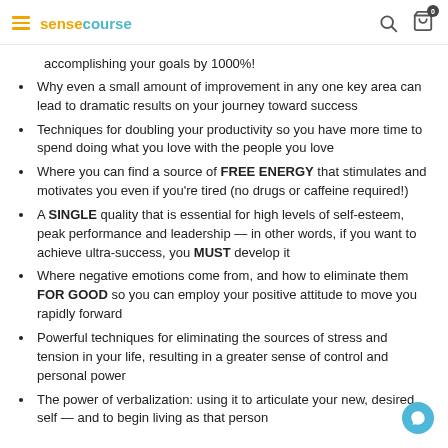sensecourse
accomplishing your goals by 1000%!
Why even a small amount of improvement in any one key area can lead to dramatic results on your journey toward success
Techniques for doubling your productivity so you have more time to spend doing what you love with the people you love
Where you can find a source of FREE ENERGY that stimulates and motivates you even if you're tired (no drugs or caffeine required!)
A SINGLE quality that is essential for high levels of self-esteem, peak performance and leadership — in other words, if you want to achieve ultra-success, you MUST develop it
Where negative emotions come from, and how to eliminate them FOR GOOD so you can employ your positive attitude to move you rapidly forward
Powerful techniques for eliminating the sources of stress and tension in your life, resulting in a greater sense of control and personal power
The power of verbalization: using it to articulate your new, desired self — and to begin living as that person